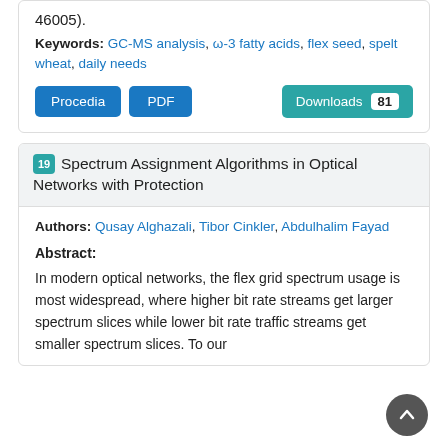46005).
Keywords: GC-MS analysis, ω-3 fatty acids, flex seed, spelt wheat, daily needs
Procedia | PDF | Downloads 81
19 Spectrum Assignment Algorithms in Optical Networks with Protection
Authors: Qusay Alghazali, Tibor Cinkler, Abdulhalim Fayad
Abstract:
In modern optical networks, the flex grid spectrum usage is most widespread, where higher bit rate streams get larger spectrum slices while lower bit rate traffic streams get smaller spectrum slices. To our